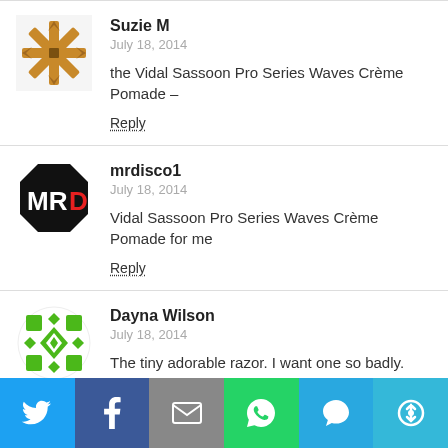[Figure (illustration): Avatar for Suzie M - decorative snowflake/geometric pattern in brown/orange on white background]
Suzie M
July 18, 2014
the Vidal Sassoon Pro Series Waves Crème Pomade –
Reply
[Figure (illustration): Avatar for mrdisco1 - black octagon with white MR and red D letters]
mrdisco1
July 18, 2014
Vidal Sassoon Pro Series Waves Crème Pomade for me
Reply
[Figure (illustration): Avatar for Dayna Wilson - green geometric grid/diamond pattern on white circle]
Dayna Wilson
July 18, 2014
The tiny adorable razor. I want one so badly.
Reply
[Figure (infographic): Share bar with 6 social media icons: Twitter (blue), Facebook (dark blue), Email (gray), WhatsApp (green), SMS (blue), Other sharing (teal)]